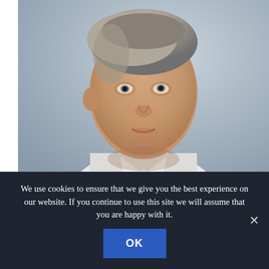[Figure (photo): Close-up photograph of a middle-aged man with short grey-brown hair, wearing a white open-collar shirt, looking upward to the right. Background is blurred urban/office setting.]
Hush Hush
COVERT COVID FORCES
The deployment of a British army internet warfare unit – 77th Brigade – in Boris Johnson and Dominic Cummings's response to
We use cookies to ensure that we give you the best experience on our website. If you continue to use this site we will assume that you are happy with it.